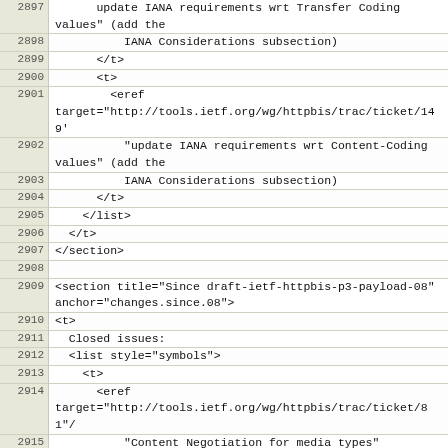| line | code |
| --- | --- |
| 2897 |       update IANA requirements wrt Transfer Coding values" (add the |
| 2898 |           IANA Considerations subsection) |
| 2899 |       </t> |
| 2900 |       <t> |
| 2901 |         <eref target="http://tools.ietf.org/wg/httpbis/trac/ticket/149' |
| 2902 |           "update IANA requirements wrt Content-Coding values" (add the |
| 2903 |           IANA Considerations subsection) |
| 2904 |       </t> |
| 2905 |     </list> |
| 2906 |   </t> |
| 2907 | </section> |
| 2908 |  |
| 2909 | <section title="Since draft-ietf-httpbis-p3-payload-08" anchor="changes.since.08"> |
| 2910 | <t> |
| 2911 |   Closed issues: |
| 2912 |   <list style="symbols"> |
| 2913 |     <t> |
| 2914 |       <eref target="http://tools.ietf.org/wg/httpbis/trac/ticket/81"/ |
| 2915 |           "Content Negotiation for media types" |
| 2916 |       </t> |
| 2917 |       <t> |
| 2918 |         <eref target="http://tools.ietf.org/wg/httpbis/trac/ticket/181' |
| 2919 |           "Accept-Language: which RFC4647 filtering?" |
| 2920 |       </t> |
| 2921 |     </list> |
| 2922 |   </t> |
| 2923 | </section> |
| 2924 |  |